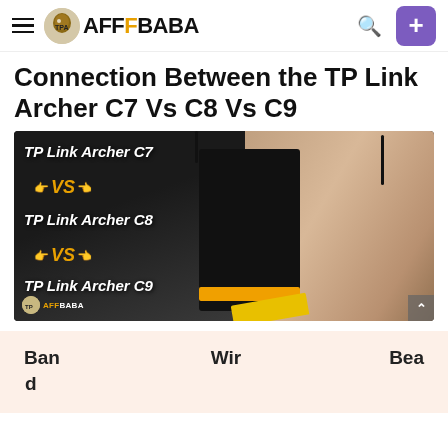AFFBABA
Connection Between the TP Link Archer C7 Vs C8 Vs C9
[Figure (photo): Hero image showing TP Link Archer C7 Vs TP Link Archer C8 Vs TP Link Archer C9 comparison graphic with router and ethernet cable photo on the right side. AFFBABA branding at bottom left.]
| Ban | Wir | Bea |
| --- | --- | --- |
| d |  |  |